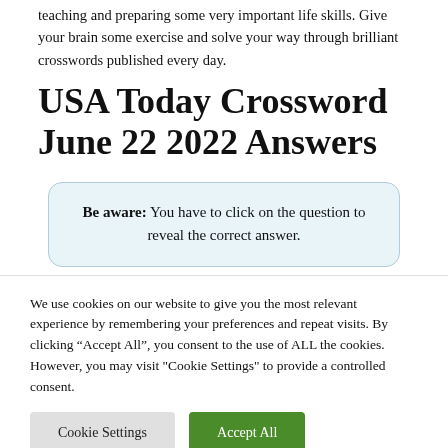teaching and preparing some very important life skills. Give your brain some exercise and solve your way through brilliant crosswords published every day.
USA Today Crossword June 22 2022 Answers
Be aware: You have to click on the question to reveal the correct answer.
We use cookies on our website to give you the most relevant experience by remembering your preferences and repeat visits. By clicking “Accept All”, you consent to the use of ALL the cookies. However, you may visit "Cookie Settings" to provide a controlled consent.
Cookie Settings | Accept All